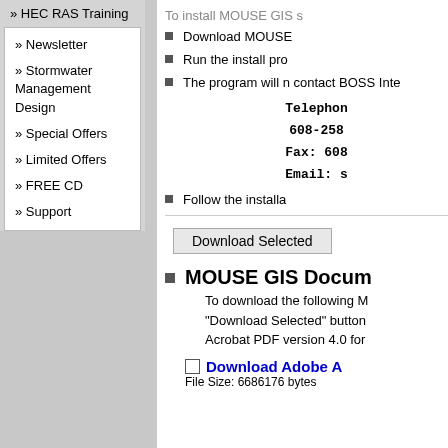» HEC RAS Training
» Newsletter
» Stormwater Management Design
» Special Offers
» Limited Offers
» FREE CD
» Support
To install MOUSE GIS s
Download MOUSE
Run the install pro
The program will n contact BOSS Inte
Telephone: 608-258 Fax: 608 Email: s
Follow the installa
Download Selected
MOUSE GIS Docum
To download the following M "Download Selected" button Acrobat PDF version 4.0 for
Download Adobe A
File Size: 6686176 bytes